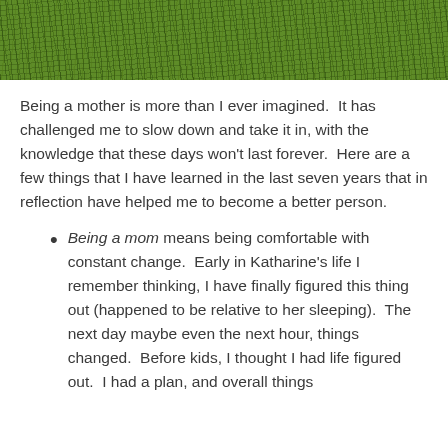[Figure (photo): A close-up photo of green grass or turf, visible at the top of the page as a cropped image strip.]
Being a mother is more than I ever imagined.  It has challenged me to slow down and take it in, with the knowledge that these days won't last forever.  Here are a few things that I have learned in the last seven years that in reflection have helped me to become a better person.
Being a mom means being comfortable with constant change.  Early in Katharine's life I remember thinking, I have finally figured this thing out (happened to be relative to her sleeping).  The next day maybe even the next hour, things changed.  Before kids, I thought I had life figured out.  I had a plan, and overall things